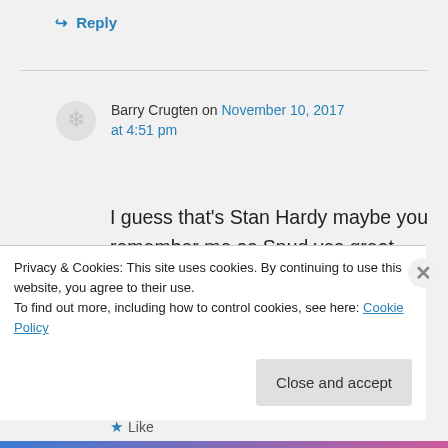↳ Reply
Barry Crugten on November 10, 2017 at 4:51 pm
I guess that's Stan Hardy maybe you remember me as Spud yes great times the teddy boy days down Bens juke blaring
Like
Privacy & Cookies: This site uses cookies. By continuing to use this website, you agree to their use.
To find out more, including how to control cookies, see here: Cookie Policy
Close and accept